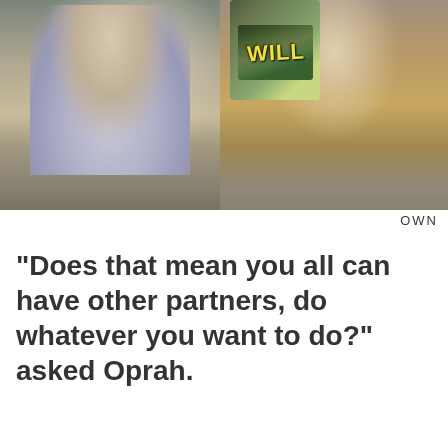[Figure (photo): Two side-by-side photos: left shows a man in a light sweater sitting on a couch gesturing with his hands; right shows a woman in a beige hoodie sitting on a couch holding a book titled 'WILL']
OWN
"Does that mean you all can have other partners, do whatever you want to do?" asked Oprah.